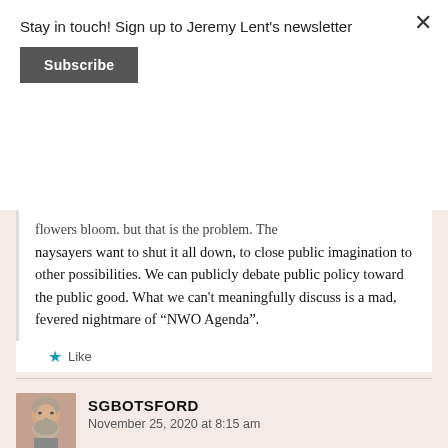Stay in touch! Sign up to Jeremy Lent's newsletter
Subscribe
flowers bloom. but that is the problem. The naysayers want to shut it all down, to close public imagination to other possibilities. We can publicly debate public policy toward the public good. What we can't meaningfully discuss is a mad, fevered nightmare of “NWO Agenda”.
Like
SGBOTSFORD
November 25, 2020 at 8:15 am